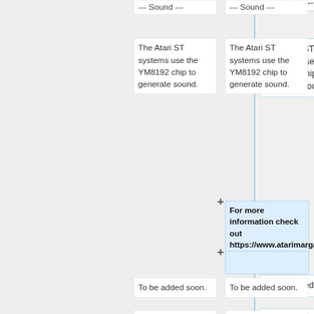--- Sound ---
--- Sound ---
The Atari ST systems use the YM8192 chip to generate sound.
The Atari ST systems use the YM8192 chip to generate sound.
For more information check out https://www.atarimargazines.com/v4n7/stsound.html
To be added soon.
To be added soon.
Line 96:
Line 98:
=== Additional
=== Additional